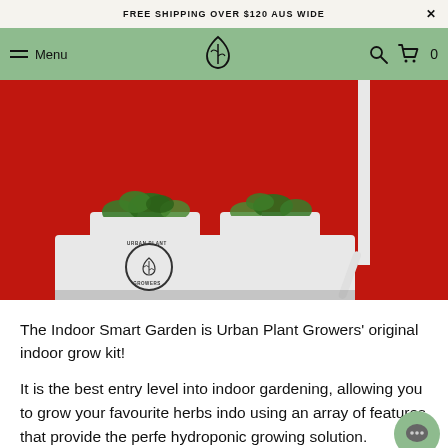FREE SHIPPING OVER $120 AUS WIDE
Menu | [logo] | [search] | Cart 0
[Figure (photo): Indoor Smart Garden product by Urban Plant Growers on a red background. White rectangular hydroponic unit with two plant pods growing herbs on top, featuring the Urban Plant Growers circular logo on the front, with a white cable visible.]
The Indoor Smart Garden is Urban Plant Growers' original indoor grow kit!
It is the best entry level into indoor gardening, allowing you to grow your favourite herbs indoors using an array of features that provide the perfect hydroponic growing solution.